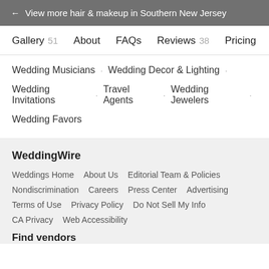← View more hair & makeup in Southern New Jersey
Gallery 51   About   FAQs   Reviews 38   Pricing
Wedding Musicians · Wedding Decor & Lighting ·
Wedding Invitations · Travel Agents · Wedding Jewelers ·
Wedding Favors
WeddingWire
Weddings Home   About Us   Editorial Team & Policies
Nondiscrimination   Careers   Press Center   Advertising
Terms of Use   Privacy Policy   Do Not Sell My Info
CA Privacy   Web Accessibility
Find vendors